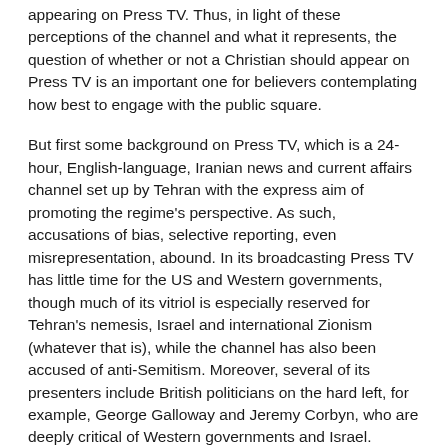appearing on Press TV. Thus, in light of these perceptions of the channel and what it represents, the question of whether or not a Christian should appear on Press TV is an important one for believers contemplating how best to engage with the public square.
But first some background on Press TV, which is a 24-hour, English-language, Iranian news and current affairs channel set up by Tehran with the express aim of promoting the regime's perspective. As such, accusations of bias, selective reporting, even misrepresentation, abound. In its broadcasting Press TV has little time for the US and Western governments, though much of its vitriol is especially reserved for Tehran's nemesis, Israel and international Zionism (whatever that is), while the channel has also been accused of anti-Semitism. Moreover, several of its presenters include British politicians on the hard left, for example, George Galloway and Jeremy Corbyn, who are deeply critical of Western governments and Israel. Further comment on Press TV can be found in a piece by The Times and The Independent columnist Dominic Lawson, who publishes a comment on the channel in the The Times newspaper